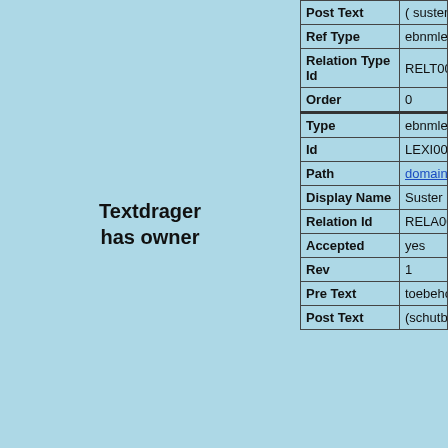Textdrager has owner
| Field | Value |
| --- | --- |
| Post Text | ( susteren in L[amme |
| Ref Type | ebnmlexicon_instit |
| Relation Type Id | RELT00000000000 |
| Order | 0 |
| Type | ebnmlexicon |
| Id | LEXI0000000059 |
| Path | domain/ebnmlexi |
| Display Name | Suster ...roetters |
| Relation Id | RELA000000091 |
| Accepted | yes |
| Rev | 1 |
| Pre Text | toebehorend aan: |
| Post Text | (schutblad voorin |